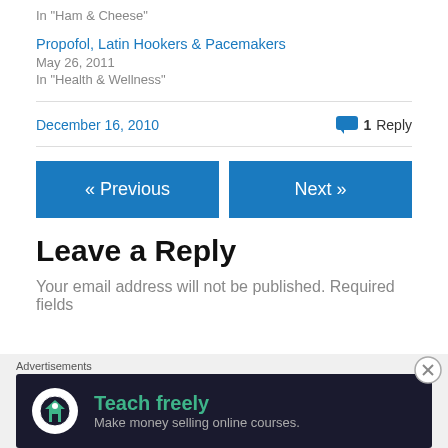In "Ham & Cheese"
Propofol, Latin Hookers & Pacemakers
May 26, 2011
In "Health & Wellness"
December 16, 2010
1 Reply
« Previous
Next »
Leave a Reply
Your email address will not be published. Required fields
Advertisements
[Figure (infographic): Advertisement banner with dark background showing 'Teach freely' headline and 'Make money selling online courses.' subtitle with an icon of a person on a house/book symbol]